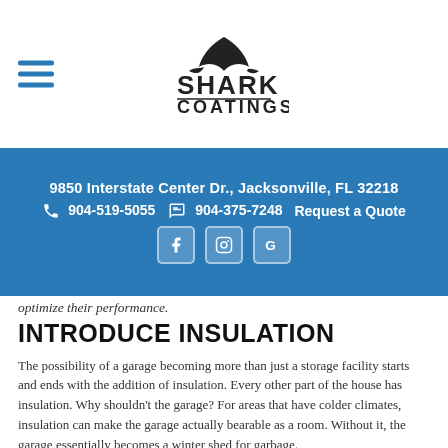[Figure (logo): Shark Coatings company logo with shark fin icon and text 'SHARK COATINGS']
9850 Interstate Center Dr., Jacksonville, FL 32218  |  904-519-5055  |  904-375-7248  |  Request a Quote
optimize their performance.
INTRODUCE INSULATION
The possibility of a garage becoming more than just a storage facility starts and ends with the addition of insulation. Every other part of the house has insulation. Why shouldn't the garage? For areas that have colder climates, insulation can make the garage actually bearable as a room. Without it, the garage essentially becomes a winter shed for garbage.
Boosting a garage with insulation can also improve a homeowner's energy bills. While some garages are detached from the house, the majority are adjoined to the walls of the house.